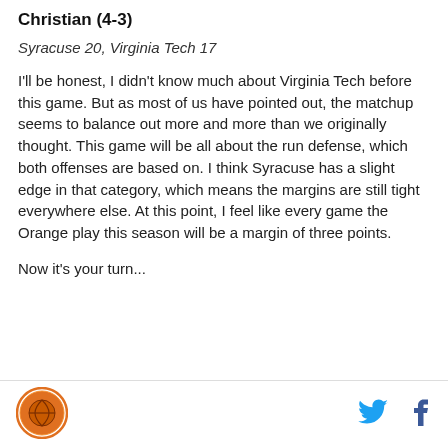Christian (4-3)
Syracuse 20, Virginia Tech 17
I'll be honest, I didn't know much about Virginia Tech before this game. But as most of us have pointed out, the matchup seems to balance out more and more than we originally thought. This game will be all about the run defense, which both offenses are based on. I think Syracuse has a slight edge in that category, which means the margins are still tight everywhere else. At this point, I feel like every game the Orange play this season will be a margin of three points.
Now it's your turn...
[Figure (logo): Syracuse Orange circular logo with orange basketball graphic]
[Figure (other): Twitter bird icon in cyan blue]
[Figure (other): Facebook f icon in dark blue]